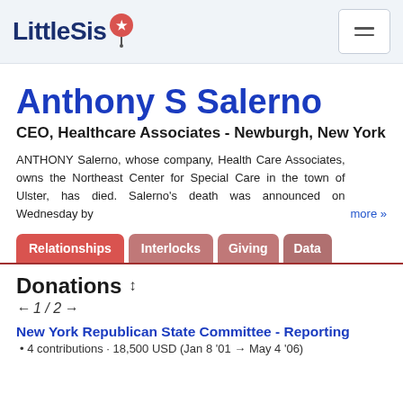LittleSis
Anthony S Salerno
CEO, Healthcare Associates - Newburgh, New York
ANTHONY Salerno, whose company, Health Care Associates, owns the Northeast Center for Special Care in the town of Ulster, has died. Salerno's death was announced on Wednesday by more »
Relationships | Interlocks | Giving | Data
Donations
← 1 / 2 →
New York Republican State Committee - Reporting
• 4 contributions · 18,500 USD (Jan 8 '01 → May 4 '06)